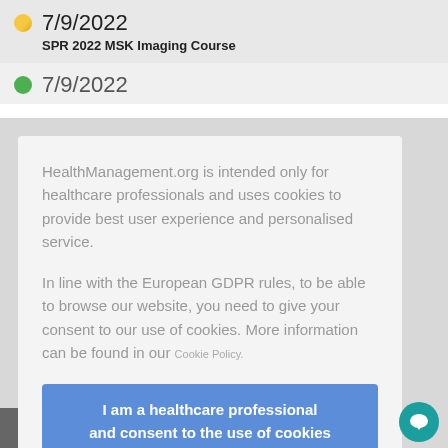7/9/2022
SPR 2022 MSK Imaging Course
7/9/2022
HealthManagement.org is intended only for healthcare professionals and uses cookies to provide best user experience and personalised service.

In line with the European GDPR rules, to be able to browse our website, you need to give your consent to our use of cookies. More information can be found in our Cookie Policy.
I am a healthcare professional and consent to the use of cookies